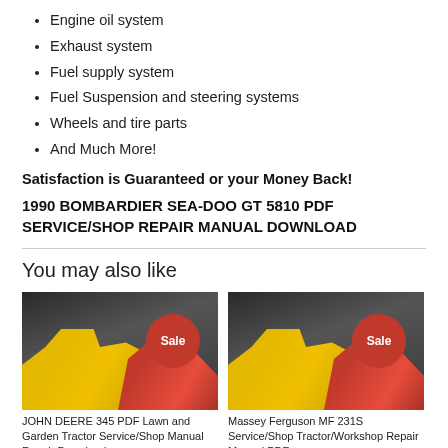Engine oil system
Exhaust system
Fuel supply system
Fuel Suspension and steering systems
Wheels and tire parts
And Much More!
Satisfaction is Guaranteed or your Money Back!
1990 BOMBARDIER SEA-DOO GT 5810 PDF SERVICE/SHOP REPAIR MANUAL DOWNLOAD
You may also like
[Figure (photo): JOHN DEERE 345 PDF Lawn and Garden Tractor Service/Shop Manual Repair Download product thumbnail with Sale badge]
JOHN DEERE 345 PDF Lawn and Garden Tractor Service/Shop Manual Repair Download
[Figure (photo): Massey Ferguson MF 231S Service/Shop Tractor/Workshop Repair Manual PDF product thumbnail with Sale badge]
Massey Ferguson MF 231S Service/Shop Tractor/Workshop Repair Manual PDF